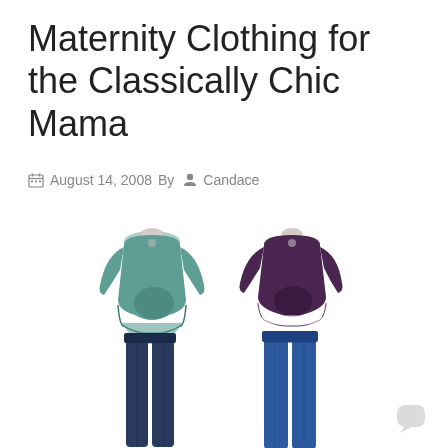Maternity Clothing for the Classically Chic Mama
August 14, 2008 By  Candace
[Figure (photo): Two headless female mannequin torsos wearing maternity clothing outfits. Left outfit: teal/sage green long-sleeve maternity top with ruffled hem and dark wash maternity jeans. Right outfit: dark purple/plum long-sleeve maternity top with medium blue wash maternity jeans.]